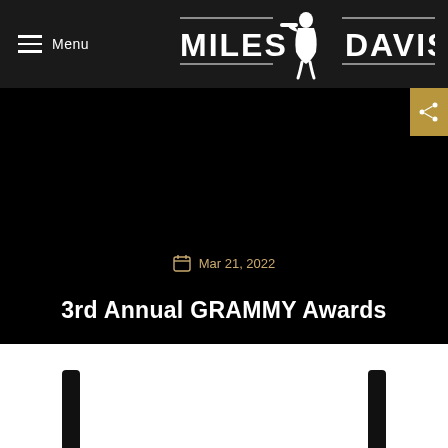Menu | MILES DAVIS
[Figure (logo): Miles Davis official logo with silhouette of musician playing trumpet, text reads MILES DAVIS with decorative horizontal lines]
Mar 21, 2022
3rd Annual GRAMMY Awards
[Figure (photo): Bottom portion of page showing two dark microphone stands on a white background]